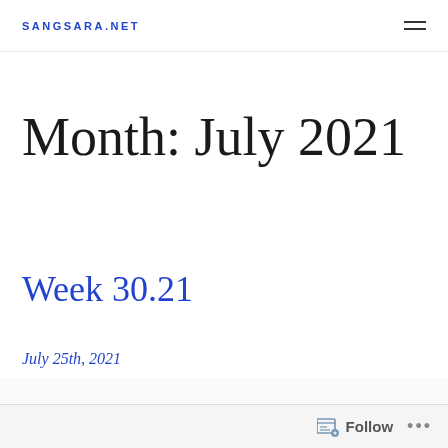SANGSARA.NET
Month: July 2021
Week 30.21
July 25th, 2021
Follow ...